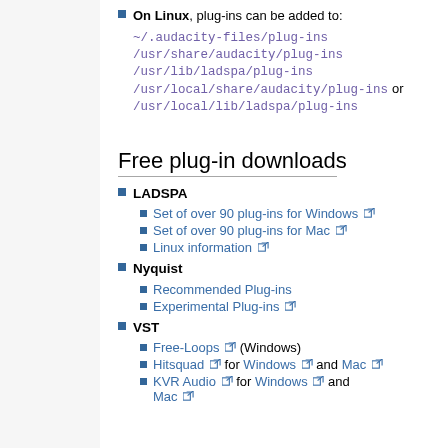On Linux, plug-ins can be added to: ~/.audacity-files/plug-ins /usr/share/audacity/plug-ins /usr/lib/ladspa/plug-ins /usr/local/share/audacity/plug-ins or /usr/local/lib/ladspa/plug-ins
Free plug-in downloads
LADSPA
Set of over 90 plug-ins for Windows
Set of over 90 plug-ins for Mac
Linux information
Nyquist
Recommended Plug-ins
Experimental Plug-ins
VST
Free-Loops (Windows)
Hitsquad for Windows and Mac
KVR Audio for Windows and Mac